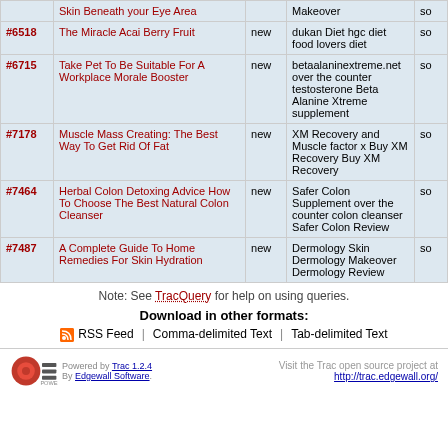| # | Summary | Status | Keywords | Owner |
| --- | --- | --- | --- | --- |
|  | Skin Beneath your Eye Area |  | Makeover | so… |
| #6518 | The Miracle Acai Berry Fruit | new | dukan Diet hgc diet food lovers diet | so… |
| #6715 | Take Pet To Be Suitable For A Workplace Morale Booster | new | betaalaninextreme.net over the counter testosterone Beta Alanine Xtreme supplement | so… |
| #7178 | Muscle Mass Creating: The Best Way To Get Rid Of Fat | new | XM Recovery and Muscle factor x Buy XM Recovery Buy XM Recovery | so… |
| #7464 | Herbal Colon Detoxing Advice How To Choose The Best Natural Colon Cleanser | new | Safer Colon Supplement over the counter colon cleanser Safer Colon Review | so… |
| #7487 | A Complete Guide To Home Remedies For Skin Hydration | new | Dermology Skin Dermology Makeover Dermology Review | so… |
Note: See TracQuery for help on using queries.
Download in other formats:
RSS Feed | Comma-delimited Text | Tab-delimited Text
Powered by Trac 1.2.4 By Edgewall Software. Visit the Trac open source project at http://trac.edgewall.org/